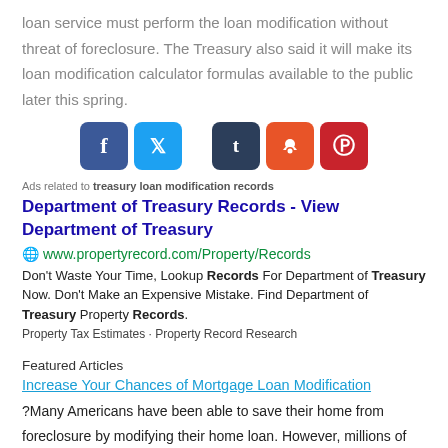loan service must perform the loan modification without threat of foreclosure. The Treasury also said it will make its loan modification calculator formulas available to the public later this spring.
[Figure (other): Social media share buttons: Facebook (blue), Twitter (light blue), Tumblr (dark blue), StumbleUpon (orange), Pinterest (red)]
Ads related to treasury loan modification records
Department of Treasury Records - View Department of Treasury
www.propertyrecord.com/Property/Records
Don't Waste Your Time, Lookup Records For Department of Treasury Now. Don't Make an Expensive Mistake. Find Department of Treasury Property Records. Property Tax Estimates · Property Record Research
Featured Articles
Increase Your Chances of Mortgage Loan Modification
?Many Americans have been able to save their home from foreclosure by modifying their home loan. However, millions of homeowners have been denied ...